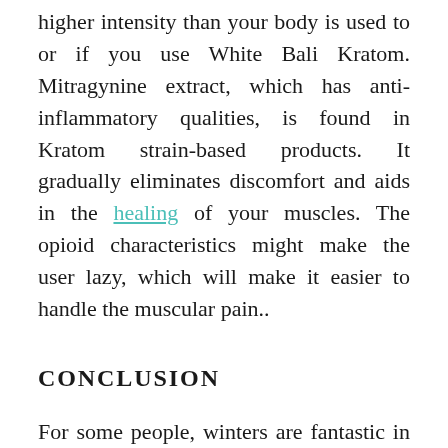higher intensity than your body is used to or if you use White Bali Kratom. Mitragynine extract, which has anti-inflammatory qualities, is found in Kratom strain-based products. It gradually eliminates discomfort and aids in the healing of your muscles. The opioid characteristics might make the user lazy, which will make it easier to handle the muscular pain..
CONCLUSION
For some people, winters are fantastic in terms of weather. It becomes even more important to boost your immunity and combat infections. It might be your ally in the fight against common